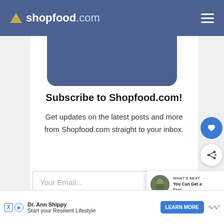shopfood.com
[Figure (screenshot): Blue rounded rectangle image placeholder in the upper center of the content area]
Subscribe to Shopfood.com!
Get updates on the latest posts and more from Shopfood.com straight to your inbox.
Your Email...
SUBSCRIBE
WHAT'S NEXT → You Can Get a Free...
Dr. Ann Shippy Start your Resilient Lifestyle LEARN MORE